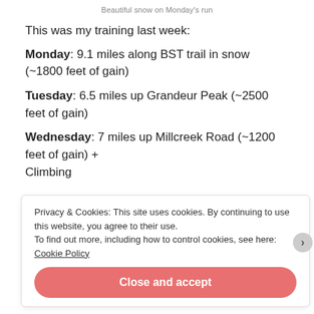Beautiful snow on Monday's run
This was my training last week:
Monday: 9.1 miles along BST trail in snow (~1800 feet of gain)
Tuesday: 6.5 miles up Grandeur Peak (~2500 feet of gain)
Wednesday: 7 miles up Millcreek Road (~1200 feet of gain) + Climbing
Privacy & Cookies: This site uses cookies. By continuing to use this website, you agree to their use. To find out more, including how to control cookies, see here: Cookie Policy
Close and accept